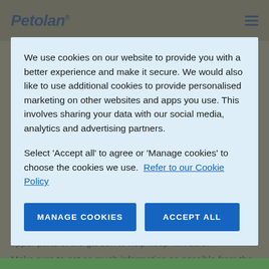Petolan®
We use cookies on our website to provide you with a better experience and make it secure. We would also like to use additional cookies to provide personalised marketing on other websites and apps you use. This involves sharing your data with our social media, analytics and advertising partners.
Select 'Accept all' to agree or 'Manage cookies' to choose the cookies we use. Refer to our Cookie Policy
carpet,' says Steven. 'We secured the garden boundary with a fence, and we fitted a gate between the lower and upper parts of the garden to help keep him safe.'
Make sure to get as much information as possible from the rehoming centre to help prepare for any unique